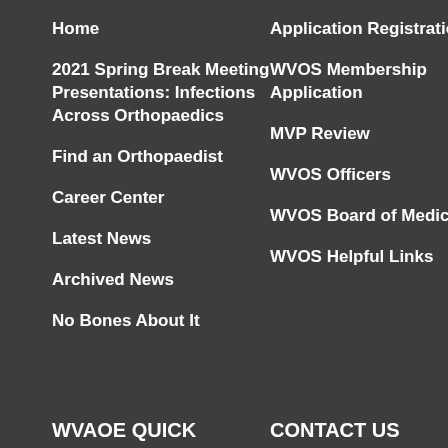Home
2021 Spring Break Meeting Presentations: Infections Across Orthopaedics
Find an Orthopaedist
Career Center
Latest News
Archived News
No Bones About It
Application Registration
WVOS Membership Application
MVP Review
WVOS Officers
WVOS Board of Medicine
WVOS Helpful Links
WVAOE QUICK
CONTACT US